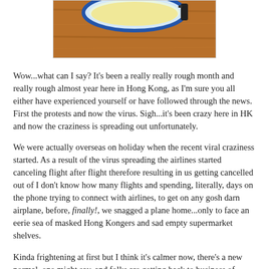[Figure (photo): Partial photo of a bowl or cup on a wooden surface, cropped at top of page showing blue rim and yellow/cream interior]
Wow...what can I say?  It's been a really really rough month and really rough almost year here in Hong Kong, as I'm sure you all either have experienced yourself or have followed through the news.  First the protests and now the virus.  Sigh...it's been crazy here in HK and now the craziness is spreading out unfortunately.
We were actually overseas on holiday when the recent viral craziness started.  As a result of the virus spreading the airlines started canceling flight after flight therefore resulting in us getting cancelled out of I don't know how many flights and spending, literally, days on the phone trying to connect with airlines, to get on any gosh darn airplane, before, finally!, we snagged a plane home...only to face an eerie sea of masked Hong Kongers and sad empty supermarket shelves.
Kinda frightening at first but I think it's calmer now, there's a new normal, one might say, and folks are getting back to business of